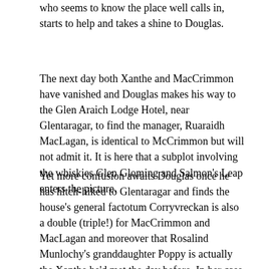who seems to know the place well calls in, starts to help and takes a shine to Douglas.
The next day both Xanthe and MacCrimmon have vanished and Douglas makes his way to the Glen Araich Lodge Hotel, near Glentaragar, to find the manager, Ruaraidh MacLagan, is identical to McCrimmon but will not admit it. It is here that a subplot involving the whiskies Glen Gloming and Salmon's Leap enters the picture.
Yet more confusion awaits Douglas once he has hitch-hiked to Glentaragar and finds the house's general factotum Corryvreckan is also a double (triple!) for MacCrimmon and MacLagan and moreover that Rosalind Munlochy's granddaughter Poppy is actually the Xanthe he'd met the day before. In her case the reason is simple, she had wanted to check Douglas out before allowing him to interview her grandmother. The fact that she